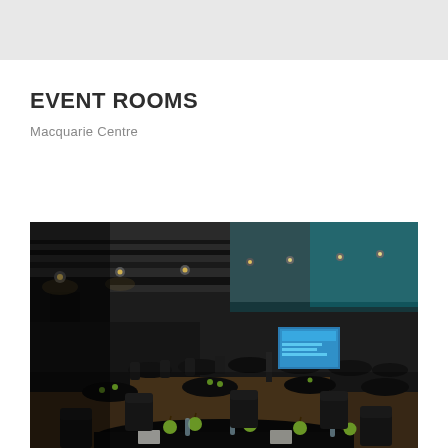EVENT ROOMS
Macquarie Centre
[Figure (photo): Interior of a large event/conference room set up for a banquet with round tables covered in black tablecloths, dark chairs, green apple decorations, and a projection screen displaying text at the far end. The room has high ceilings with industrial lighting rigs and spotlights.]